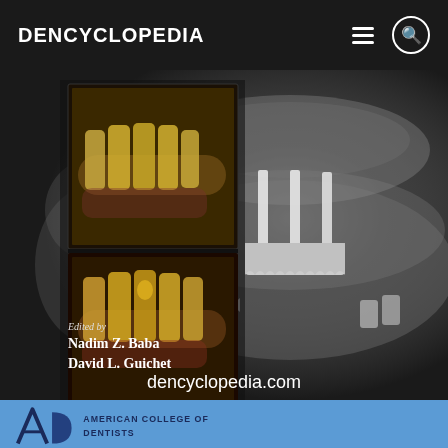DENCYCLOPEDIA
[Figure (photo): Dental medical reference book cover showing X-ray panoramic image of jaw with dental implants and prosthetic bar, alongside two clinical photos of upper teeth/dental prosthetics. Text reads: 'Edited by Nadim Z. Baba, David L. Guichet' and 'dencyclopedia.com']
[Figure (photo): Partial view of ACD (American College of Dentists) logo on blue background at bottom of page]